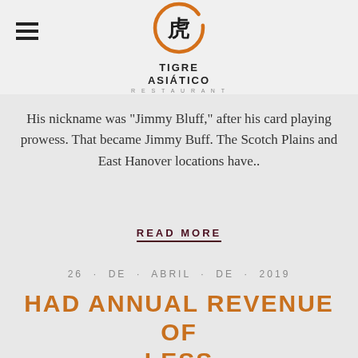[Figure (logo): Tigre Asiatico logo: orange circular brush stroke with a Chinese character inside, with text TIGRE ASIATICO below]
His nickname was "Jimmy Bluff," after his card playing prowess. That became Jimmy Buff. The Scotch Plains and East Hanover locations have..
READ MORE
26 · DE · ABRIL · DE · 2019
HAD ANNUAL REVENUE OF LESS